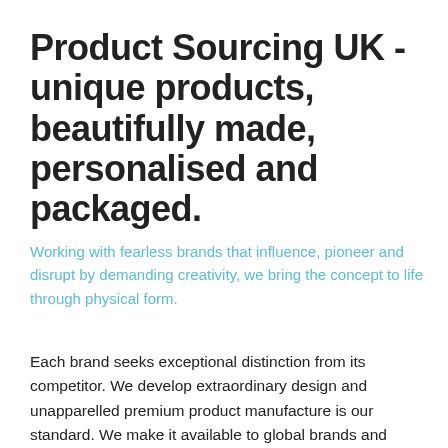Product Sourcing UK - unique products, beautifully made, personalised and packaged.
Working with fearless brands that influence, pioneer and disrupt by demanding creativity, we bring the concept to life through physical form.
Each brand seeks exceptional distinction from its competitor. We develop extraordinary design and unapparelled premium product manufacture is our standard. We make it available to global brands and independents.